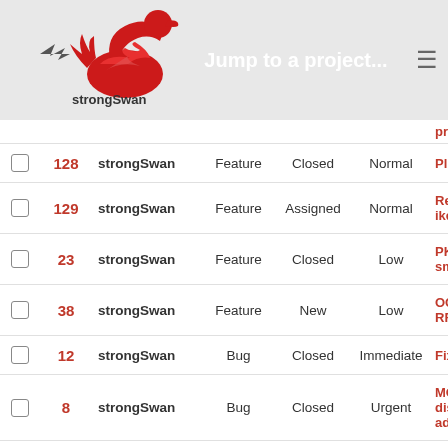[Figure (logo): strongSwan logo - red swan/duck bird with text 'strongSwan']
Jump to a project...
|  | # | Project | Tracker | Status | Priority | Subject |
| --- | --- | --- | --- | --- | --- | --- |
|  |  |  |  |  |  | process |
|  | 128 | strongSwan | Feature | Closed | Normal | Plugin depen... |
|  | 129 | strongSwan | Feature | Assigned | Normal | Relations be... ike/child/pee... |
|  | 23 | strongSwan | Feature | Closed | Low | PKCS#11 ba... smartcard in... |
|  | 38 | strongSwan | Feature | New | Low | OCSP in IKE... RFC4806 |
|  | 12 | strongSwan | Bug | Closed | Immediate | Fix build on... |
|  | 8 | strongSwan | Bug | Closed | Urgent | MOBIKE sele... disappearing... address |
|  | 51 | strongSwan | Bug | Closed | Urgent | fips_signer s... chek for $(PREFIX)/li... at build time... |
|  |  |  |  |  |  | distribution... |